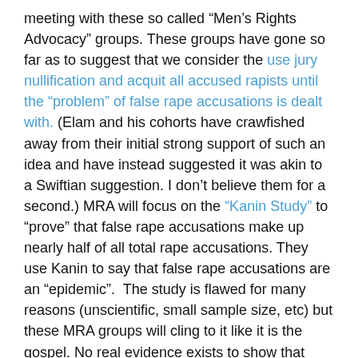meeting with these so called “Men’s Rights Advocacy” groups. These groups have gone so far as to suggest that we consider the use jury nullification and acquit all accused rapists until the “problem” of false rape accusations is dealt with. (Elam and his cohorts have crawfished away from their initial strong support of such an idea and have instead suggested it was akin to a Swiftian suggestion. I don’t believe them for a second.) MRA will focus on the “Kanin Study” to “prove” that false rape accusations make up nearly half of all total rape accusations. They use Kanin to say that false rape accusations are an “epidemic”.  The study is flawed for many reasons (unscientific, small sample size, etc) but these MRA groups will cling to it like it is the gospel. No real evidence exists to show that false accusations of rape are any more frequent than false accusations of any other crime. I have also seen MRA claim that a not-guilty finding means the claim was false. This is absolutely untrue.
One of the groups that is actually getting to meet with Devos, The National Coalition of Men, once suggested that Ray Rice wouldn’t have hit his wife had she not